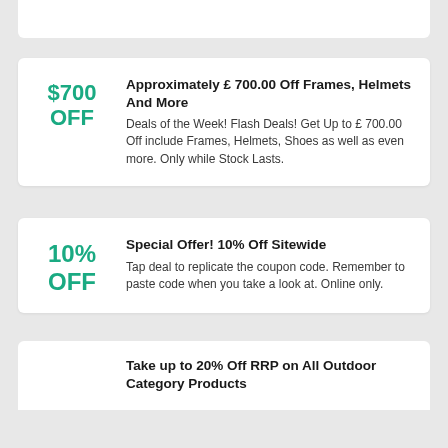$700 OFF
Approximately £ 700.00 Off Frames, Helmets And More
Deals of the Week! Flash Deals! Get Up to £ 700.00 Off include Frames, Helmets, Shoes as well as even more. Only while Stock Lasts.
10% OFF
Special Offer! 10% Off Sitewide
Tap deal to replicate the coupon code. Remember to paste code when you take a look at. Online only.
Take up to 20% Off RRP on All Outdoor Category Products